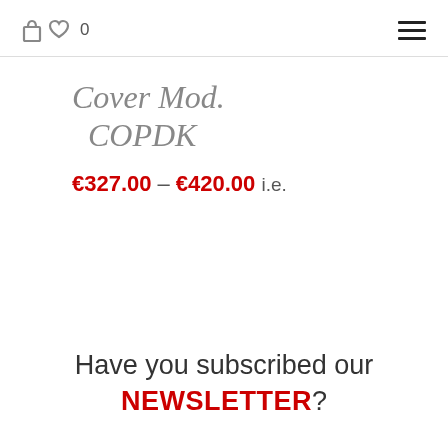0
Cover Mod. COPDK
€327.00 – €420.00 i.e.
Have you subscribed our NEWSLETTER?